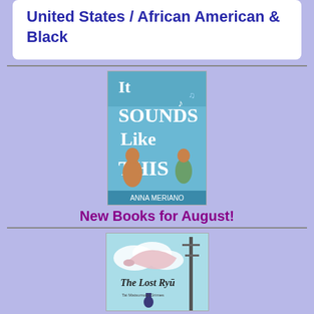United States / African American & Black
[Figure (illustration): Book cover: 'It Sounds Like This' by Anna Meriano. Features illustrated characters with musical instruments on a colorful background.]
New Books for August!
[Figure (illustration): Book cover: 'The Lost Ryū' by Tai Matsumoto Grimes. Features a person and a dragon in clouds with a tower in the background.]